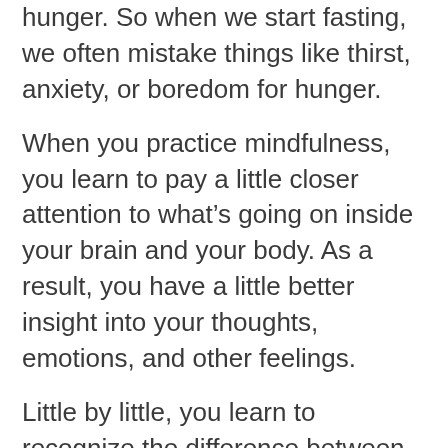hunger.  So when we start fasting, we often mistake things like thirst, anxiety, or boredom for hunger.
When you practice mindfulness, you learn to pay a little closer attention to what’s going on inside your brain and your body. As a result, you have a little better insight into your thoughts, emotions, and other feelings.
Little by little, you learn to recognize the difference between hunger and other passing sensations.  And you won’t say you’re starving when you really just feel a little anxious or bored. 🙂